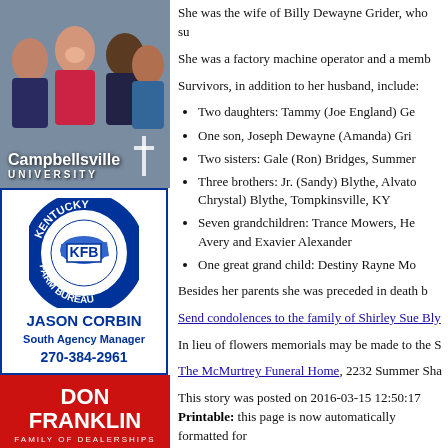[Figure (photo): Campbellsville University advertisement with group photo of smiling students and university logo/text]
[Figure (logo): Kentucky Farm Bureau advertisement with KFB circular logo, Jason Corbin South Agency Manager, 270-384-2961]
[Figure (other): Don Franklin Family of Dealerships Columbia Nissan advertisement with red background and Nissan logo]
She was the wife of Billy Dewayne Grider, who su
She was a factory machine operator and a memb
Survivors, in addition to her husband, include:
Two daughters: Tammy (Joe England) Ge
One son, Joseph Dewayne (Amanda) Gri
Two sisters: Gale (Ron) Bridges, Summer
Three brothers: Jr. (Sandy) Blythe, Alvato Chrystal) Blythe, Tompkinsville, KY
Seven grandchildren: Trance Mowers, He Avery and Exavier Alexander
One great grand child: Destiny Rayne Mo
Besides her parents she was preceded in death b
Send condolences to the family of Shirley Sue Bly
In lieu of flowers memorials may be made to the S
The McMurtrey Funeral Home, 2232 Summer Sha
This story was posted on 2016-03-15 12:50:17
Printable: this page is now automatically formatted for
Have comments or corrections for this story? Use